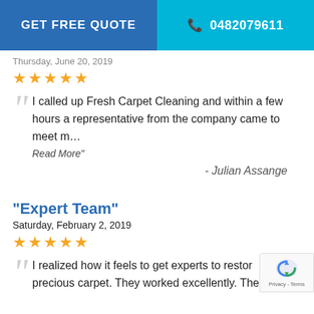GET FREE QUOTE | 0482079611
Thursday, June 20, 2019
★★★★★
I called up Fresh Carpet Cleaning and within a few hours a representative from the company came to meet m…
Read More"
- Julian Assange
"Expert Team"
Saturday, February 2, 2019
★★★★★
I realized how it feels to get experts to restore precious carpet. They worked excellently. The